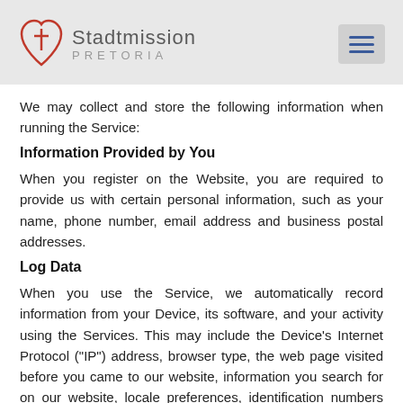[Figure (logo): Stadtmission Pretoria logo with heart and cross icon]
We may collect and store the following information when running the Service:
Information Provided by You
When you register on the Website, you are required to provide us with certain personal information, such as your name, phone number, email address and business postal addresses.
Log Data
When you use the Service, we automatically record information from your Device, its software, and your activity using the Services. This may include the Device’s Internet Protocol (“IP”) address, browser type, the web page visited before you came to our website, information you search for on our website, locale preferences, identification numbers associated with your Devices,